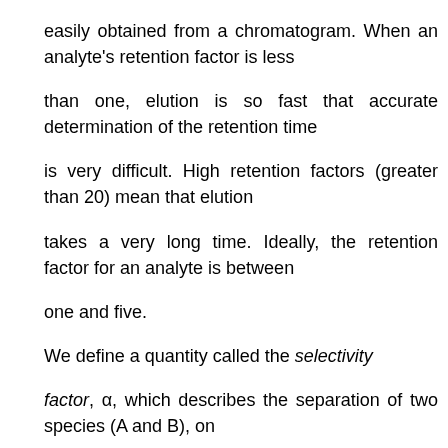easily obtained from a chromatogram. When an analyte's retention factor is less than one, elution is so fast that accurate determination of the retention time is very difficult. High retention factors (greater than 20) mean that elution takes a very long time. Ideally, the retention factor for an analyte is between one and five.
We define a quantity called the selectivity factor, α, which describes the separation of two species (A and B), on the column;
When calculating the selectivity factor, species A elutes faster than species B. The selectivity factor is always greater than one.